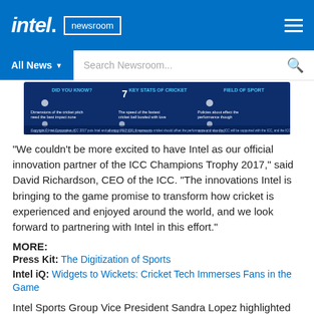intel. newsroom
[Figure (screenshot): Intel newsroom navigation bar with 'All News' dropdown and search field]
[Figure (infographic): Dark blue infographic panel about ICC Champions Trophy 2017 cricket innovations including statistics and cricket-related icons]
“We couldn't be more excited to have Intel as our official innovation partner of the ICC Champions Trophy 2017,” said David Richardson, CEO of the ICC. “The innovations Intel is bringing to the game promise to transform how cricket is experienced and enjoyed around the world, and we look forward to partnering with Intel in this effort.”
MORE:
Press Kit: The Digitization of Sports
Intel iQ: Widgets to Wickets: Cricket Tech Immerses Fans in the Game
Intel Sports Group Vice President Sandra Lopez highlighted the role of technology in transforming the way we play and view sports. With higher levels of digitization,